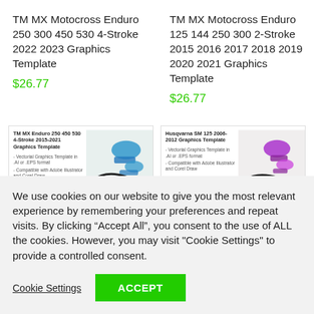TM MX Motocross Enduro 250 300 450 530 4-Stroke 2022 2023 Graphics Template
$26.77
TM MX Motocross Enduro 125 144 250 300 2-Stroke 2015 2016 2017 2018 2019 2020 2021 Graphics Template
$26.77
[Figure (screenshot): Thumbnail card for TM MX Enduro 250 450 530 4-Stroke 2015-2021 Graphics Template with blue motocross graphics]
[Figure (screenshot): Thumbnail card for Husqvarna SM 125 2006-2012 Graphics Template with purple motocross graphics]
We use cookies on our website to give you the most relevant experience by remembering your preferences and repeat visits. By clicking “Accept All”, you consent to the use of ALL the cookies. However, you may visit "Cookie Settings" to provide a controlled consent.
Cookie Settings
ACCEPT